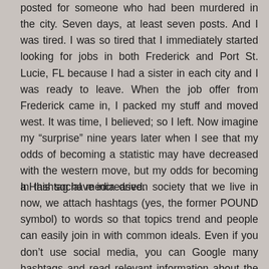posted for someone who had been murdered in the city. Seven days, at least seven posts. And I was tired. I was so tired that I immediately started looking for jobs in both Frederick and Port St. Lucie, FL because I had a sister in each city and I was ready to leave. When the job offer from Frederick came in, I packed my stuff and moved west. It was time, I believed; so I left. Now imagine my “surprise” nine years later when I see that my odds of becoming a statistic may have decreased with the western move, but my odds for becoming a Hashtag have increased.
In this social media driven society that we live in now, we attach hashtags (yes, the former POUND symbol) to words so that topics trend and people can easily join in with common ideals. Even if you don’t use social media, you can Google many hashtags and read relevant information about the hashtags and be brought